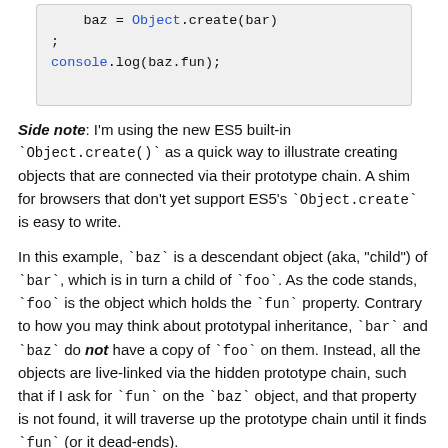[Figure (screenshot): Code block showing JavaScript: baz = Object.create(bar), semicolon, console.log(baz.fun);]
Side note: I'm using the new ES5 built-in `Object.create()` as a quick way to illustrate creating objects that are connected via their prototype chain. A shim for browsers that don't yet support ES5's `Object.create` is easy to write.
In this example, `baz` is a descendant object (aka, "child") of `bar`, which is in turn a child of `foo`. As the code stands, `foo` is the object which holds the `fun` property. Contrary to how you may think about prototypal inheritance, `bar` and `baz` do not have a copy of `foo` on them. Instead, all the objects are live-linked via the hidden prototype chain, such that if I ask for `fun` on the `baz` object, and that property is not found, it will traverse up the prototype chain until it finds `fun` (or it dead-ends).